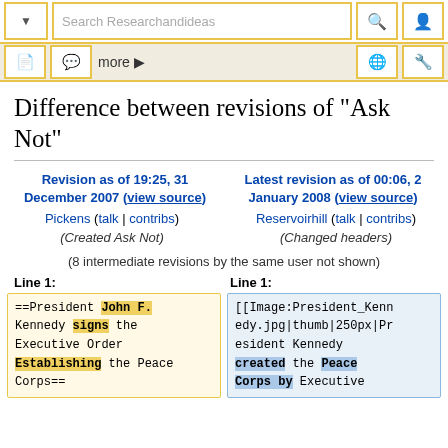[Figure (screenshot): Top navigation bar with dropdown arrow, search box 'Search Researchandideas', search icon, and user icon]
[Figure (screenshot): Second navigation bar with document icon, talk/discussion icon, 'more' link with arrow, globe icon, tools icon]
Difference between revisions of "Ask Not"
| Left revision | Right revision |
| --- | --- |
| Revision as of 19:25, 31 December 2007 (view source) | Latest revision as of 00:06, 2 January 2008 (view source) |
| Pickens (talk | contribs) | Reservoirhill (talk | contribs) |
| (Created Ask Not) | (Changed headers) |
(8 intermediate revisions by the same user not shown)
Line 1:
Line 1:
==President John F. Kennedy signs the Executive Order Establishing the Peace Corps==
[[Image:President_Kennedy.jpg|thumb|250px|President Kennedy created the Peace Corps by Executive